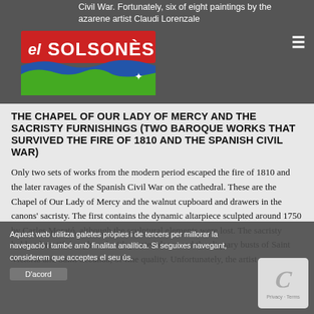Civil War. Fortunately, six of eight paintings by the Nazarene artist Claudi Lorenzale
[Figure (logo): el Solsonès newspaper logo with red and white text on dark background, blue and green wave shapes]
THE CHAPEL OF OUR LADY OF MERCY AND THE SACRISTY FURNISHINGS (TWO BAROQUE WORKS THAT SURVIVED THE FIRE OF 1810 AND THE SPANISH CIVIL WAR)
Only two sets of works from the modern period escaped the fire of 1810 and the later ravages of the Spanish Civil War on the cathedral. These are the Chapel of Our Lady of Mercy and the walnut cupboard and drawers in the canons' sacristy. The first contains the dynamic altarpiece sculpted around 1750 by Carles Morató, although the sculptural elements were lost. The sacristy holds a beautiful cupboard with painted doors and the reliquary busts of Saint Victoria and Saint Secunda, of fine quality. Unfortunately, the artist
Aquest web utilitza galetes pròpies i de tercers per millorar la navegació i també amb finalitat analítica. Si seguixes navegant, considerem que acceptes el seu ús.